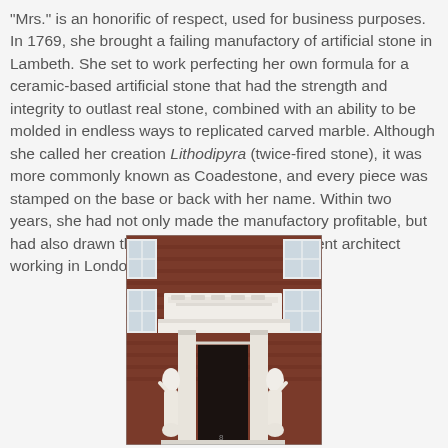"Mrs." is an honorific of respect, used for business purposes. In 1769, she brought a failing manufactory of artificial stone in Lambeth. She set to work perfecting her own formula for a ceramic-based artificial stone that had the strength and integrity to outlast real stone, combined with an ability to be molded in endless ways to replicated carved marble. Although she called her creation Lithodipyra (twice-fired stone), it was more commonly known as Coadestone, and every piece was stamped on the base or back with her name. Within two years, she had not only made the manufactory profitable, but had also drawn the attention of every prominent architect working in London at the time.
[Figure (photo): Photograph of a building entrance with white classical architectural stonework including a pediment, cornice, and two white figurative statues (caryatid-like figures) flanking a dark doorway, set against a red brick multi-storey building facade with white-framed windows.]